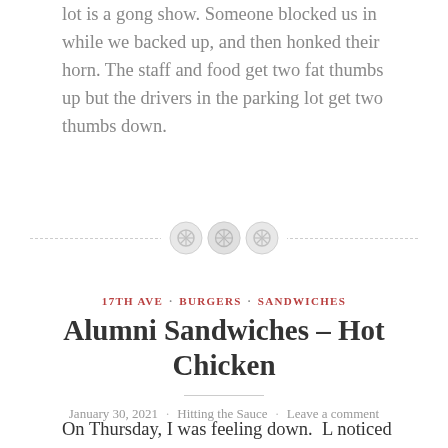lot is a gong show. Someone blocked us in while we backed up, and then honked their horn. The staff and food get two fat thumbs up but the drivers in the parking lot get two thumbs down.
[Figure (illustration): Decorative section divider with three button-like circular icons centered on a dashed horizontal line]
17TH AVE · BURGERS · SANDWICHES
Alumni Sandwiches – Hot Chicken
January 30, 2021 · Hitting the Sauce · Leave a comment
On Thursday, I was feeling down.  L noticed my mood